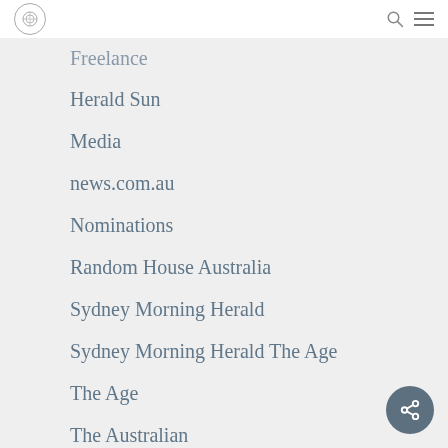Freelance
Herald Sun
Media
news.com.au
Nominations
Random House Australia
Sydney Morning Herald
Sydney Morning Herald The Age
The Age
The Australian
The Daily Telegraph
TV WEEK